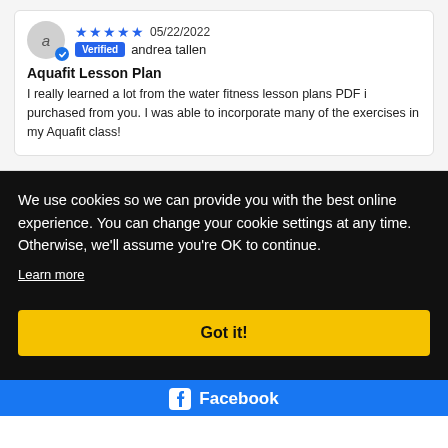★★★★★ 05/22/2022 Verified andrea tallen
Aquafit Lesson Plan
I really learned a lot from the water fitness lesson plans PDF i purchased from you. I was able to incorporate many of the exercises in my Aquafit class!
We use cookies so we can provide you with the best online experience. You can change your cookie settings at any time. Otherwise, we'll assume you're OK to continue.
Learn more
Got it!
Facebook